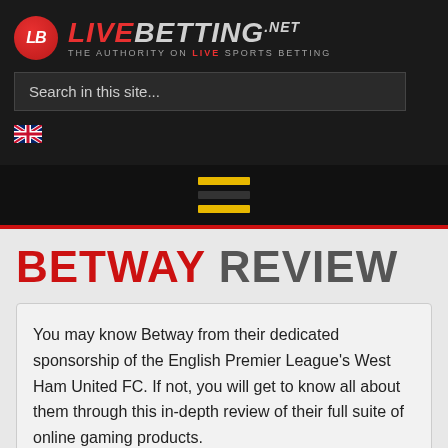[Figure (logo): LiveBetting.net logo with red circle LB icon, red LIVE text and gray BETTING.NET text, tagline THE AUTHORITY ON LIVE SPORTS BETTING]
Search in this site...
[Figure (illustration): UK flag emoji / icon]
[Figure (illustration): Hamburger menu icon with three horizontal bars, top and bottom gold, middle dark]
BETWAY REVIEW
You may know Betway from their dedicated sponsorship of the English Premier League's West Ham United FC. If not, you will get to know all about them through this in-depth review of their full suite of online gaming products.